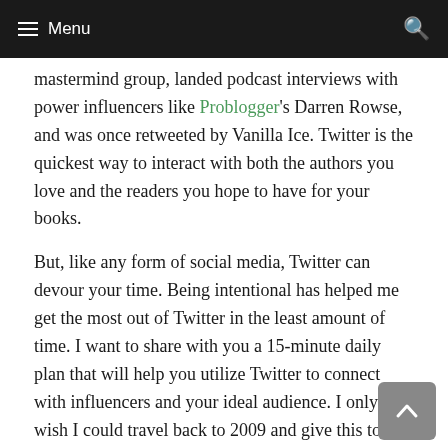≡ Menu
mastermind group, landed podcast interviews with power influencers like Problogger's Darren Rowse, and was once retweeted by Vanilla Ice. Twitter is the quickest way to interact with both the authors you love and the readers you hope to have for your books.
But, like any form of social media, Twitter can devour your time. Being intentional has helped me get the most out of Twitter in the least amount of time. I want to share with you a 15-minute daily plan that will help you utilize Twitter to connect with influencers and your ideal audience. I only wish I could travel back to 2009 and give this to myself!